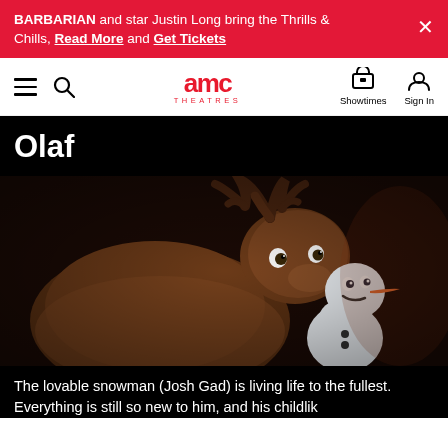BARBARIAN and star Justin Long bring the Thrills & Chills, Read More and Get Tickets
AMC THEATRES — Showtimes, Sign In
Olaf
[Figure (photo): Animated movie still showing Olaf the snowman (white round snowman with orange carrot nose) and Sven the reindeer from Disney's Frozen, in a warm indoor scene]
The lovable snowman (Josh Gad) is living life to the fullest. Everything is still so new to him, and his childlik...